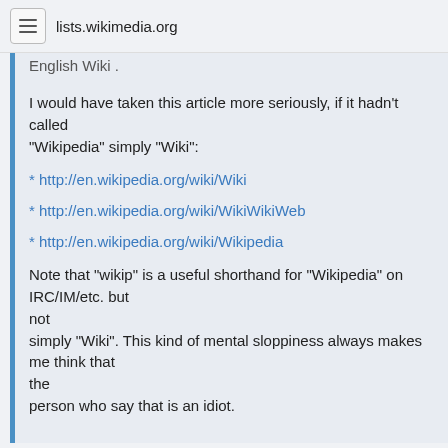lists.wikimedia.org
English Wiki .
I would have taken this article more seriously, if it hadn't called "Wikipedia" simply "Wiki":
* http://en.wikipedia.org/wiki/Wiki
* http://en.wikipedia.org/wiki/WikiWikiWeb
* http://en.wikipedia.org/wiki/Wikipedia
Note that "wikip" is a useful shorthand for "Wikipedia" on IRC/IM/etc. but not simply "Wiki". This kind of mental sloppiness always makes me think that the person who say that is an idiot.